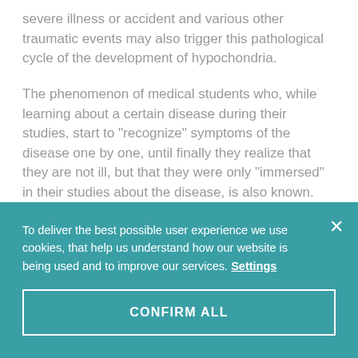severe illness or accident and various other traumatic events may also trigger this pathological cycle of the development of hypochondria.
The phenomenon of medical students who, while learning about a certain disease during their studies, start to "recognize" symptoms of the disease one by one, until finally they realize that they are not ill, but that they were only "immersed" in their studies about the disease, is also known.
Certain influence can be made by media effects to young
To deliver the best possible user experience we use cookies, that help us understand how our website is being used and to improve our services. Settings
CONFIRM ALL